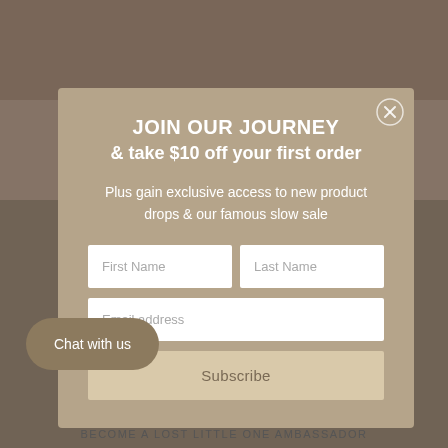[Figure (photo): Background photo of a person, partially visible behind a modal popup overlay]
JOIN OUR JOURNEY
& take $10 off your first order
Plus gain exclusive access to new product drops & our famous slow sale
First Name | Last Name | Email address | Subscribe
Chat with us
BECOME A LOST LITTLE ONE AMBASSADOR